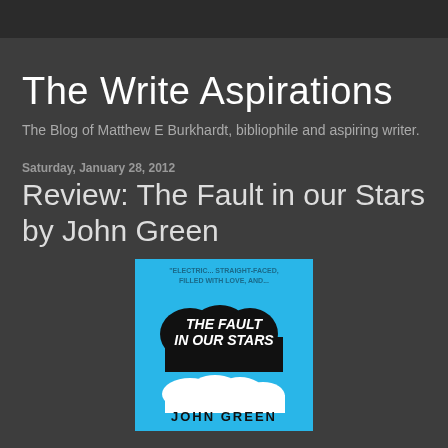The Write Aspirations
The Blog of Matthew E Burkhardt, bibliophile and aspiring writer.
Saturday, January 28, 2012
Review: The Fault in our Stars by John Green
[Figure (photo): Book cover of 'The Fault in Our Stars' by John Green — bright blue background with a black cloud shape containing white handwritten-style text 'THE FAULT IN OUR STARS', author name 'JOHN GREEN' at the bottom, and a small blurb at the top in small text.]